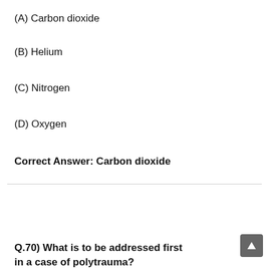(A) Carbon dioxide
(B) Helium
(C) Nitrogen
(D) Oxygen
Correct Answer: Carbon dioxide
Q.70) What is to be addressed first in a case of polytrauma?